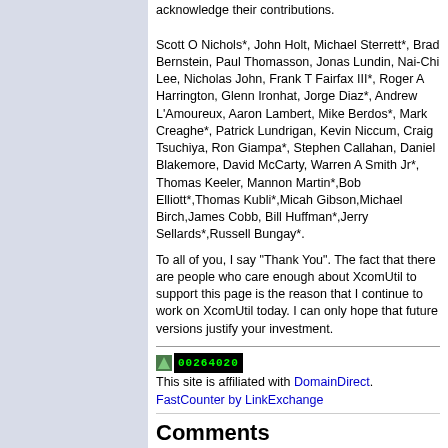acknowledge their contributions.

Scott O Nichols*, John Holt, Michael Sterrett*, Brad Bernstein, Paul Thomasson, Jonas Lundin, Nai-Chi Lee, Nicholas John, Frank T Fairfax III*, Roger A Harrington, Glenn Ironhat, Jorge Diaz*, Andrew L'Amoureux, Aaron Lambert, Mike Berdos*, Mark Creaghe*, Patrick Lundrigan, Kevin Niccum, Craig Tsuchiya, Ron Giampa*, Stephen Callahan, Daniel Blakemore, David McCarty, Warren A Smith Jr*, Thomas Keeler, Mannon Martin*,Bob Elliott*,Thomas Kubli*,Micah Gibson,Michael Birch,James Cobb, Bill Huffman*,Jerry Sellards*,Russell Bungay*.
To all of you, I say "Thank You". The fact that there are people who care enough about XcomUtil to support this page is the reason that I continue to work on XcomUtil today. I can only hope that future versions justify your investment.
[Figure (other): Web counter image showing 00264020 with a small green arrow icon, affiliated with DomainDirect. FastCounter by LinkExchange link below.]
Comments